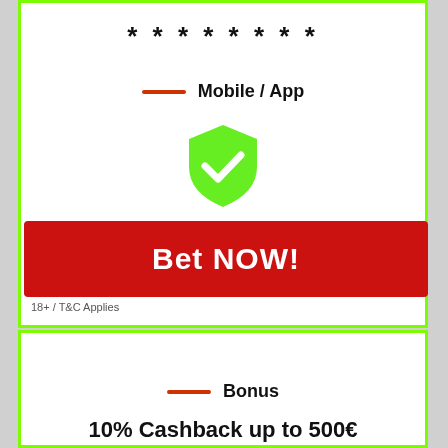* * * * * * * *
Mobile / App
[Figure (illustration): Green shield with white checkmark icon]
Bet NOW!
18+ / T&C Applies
Bonus
10% Cashback up to 500€